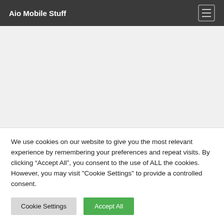Aio Mobile Stuff
Category: Stock Firmware
Download the latest official Firmware Stock ROM For All Android...
We use cookies on our website to give you the most relevant experience by remembering your preferences and repeat visits. By clicking “Accept All”, you consent to the use of ALL the cookies. However, you may visit "Cookie Settings" to provide a controlled consent.
Cookie Settings | Accept All